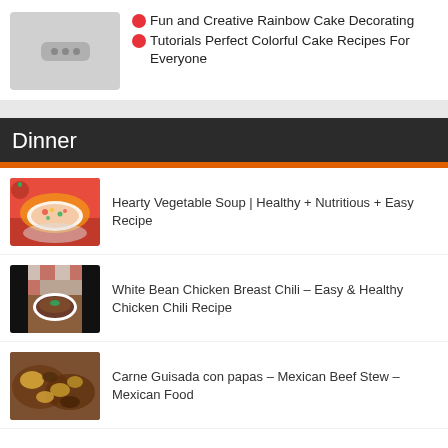[Figure (screenshot): Thumbnail placeholder with three dots icon]
Fun and Creative Rainbow Cake Decorating
Tutorials Perfect Colorful Cake Recipes For Everyone
Dinner
[Figure (photo): Hearty vegetable soup in a bowl]
Hearty Vegetable Soup | Healthy + Nutritious + Easy Recipe
[Figure (photo): White bean chicken breast chili in a bowl]
White Bean Chicken Breast Chili – Easy & Healthy Chicken Chili Recipe
[Figure (photo): Carne Guisada con papas dish]
Carne Guisada con papas – Mexican Beef Stew – Mexican Food